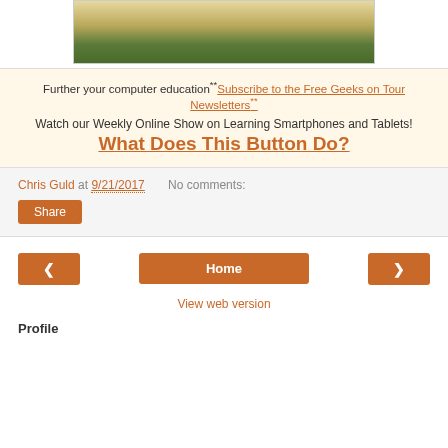[Figure (photo): Partial view of a book page with text columns, resting on a surface with green foliage visible behind it.]
Further your computer education**Subscribe to the Free Geeks on Tour Newsletters**
Watch our Weekly Online Show on Learning Smartphones and Tablets!
What Does This Button Do?
Chris Guld at 9/21/2017   No comments:
Share
Home
View web version
Profile